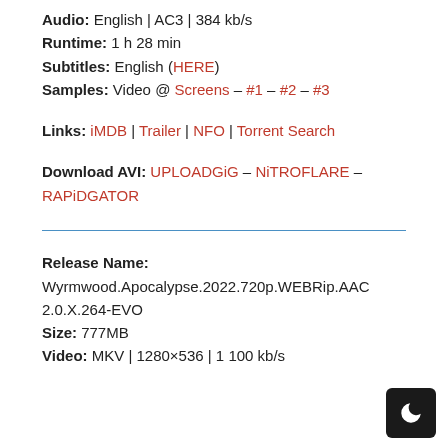Audio: English | AC3 | 384 kb/s
Runtime: 1 h 28 min
Subtitles: English (HERE)
Samples: Video @ Screens – #1 – #2 – #3
Links: iMDB | Trailer | NFO | Torrent Search
Download AVI: UPLOADGiG – NiTROFLARE – RAPiDGATOR
Release Name:
Wyrmwood.Apocalypse.2022.720p.WEBRip.AAC2.0.X.264-EVO
Size: 777MB
Video: MKV | 1280×536 | 1 100 kb/s